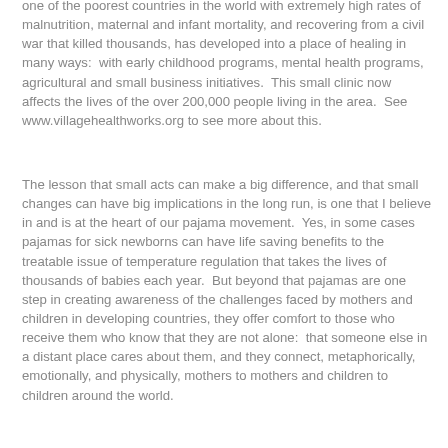one of the poorest countries in the world with extremely high rates of malnutrition, maternal and infant mortality, and recovering from a civil war that killed thousands, has developed into a place of healing in many ways:  with early childhood programs, mental health programs, agricultural and small business initiatives.  This small clinic now affects the lives of the over 200,000 people living in the area.  See www.villagehealthworks.org to see more about this.
The lesson that small acts can make a big difference, and that small changes can have big implications in the long run, is one that I believe in and is at the heart of our pajama movement.  Yes, in some cases pajamas for sick newborns can have life saving benefits to the treatable issue of temperature regulation that takes the lives of thousands of babies each year.  But beyond that pajamas are one step in creating awareness of the challenges faced by mothers and children in developing countries, they offer comfort to those who receive them who know that they are not alone:  that someone else in a distant place cares about them, and they connect, metaphorically, emotionally, and physically, mothers to mothers and children to children around the world.